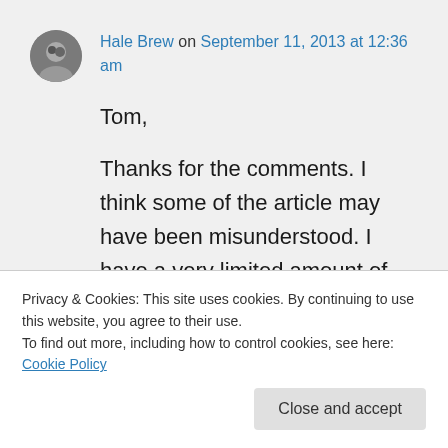Hale Brew on September 11, 2013 at 12:36 am
Tom,
Thanks for the comments. I think some of the article may have been misunderstood. I have a very limited amount of space in the paper, 500 words max, so I don't have much space to get into details. Also the demographic of the paper are novice beer
big competitions. I'm very familiar with
Privacy & Cookies: This site uses cookies. By continuing to use this website, you agree to their use.
To find out more, including how to control cookies, see here: Cookie Policy
Close and accept